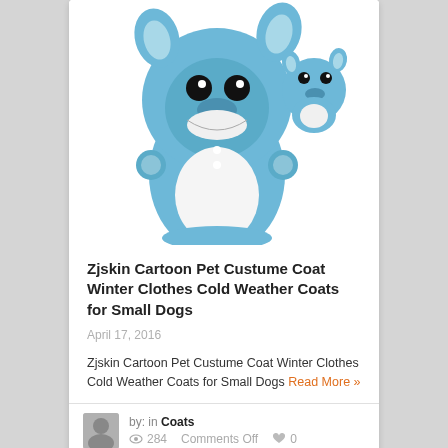[Figure (photo): Blue Stitch cartoon pet costume coat with hood and ear details, shown flat on white background with a smaller thumbnail view beside it]
Zjskin Cartoon Pet Custume Coat Winter Clothes Cold Weather Coats for Small Dogs
April 17, 2016
Zjskin Cartoon Pet Custume Coat Winter Clothes Cold Weather Coats for Small Dogs Read More »
by: in Coats  284  Comments Off  0